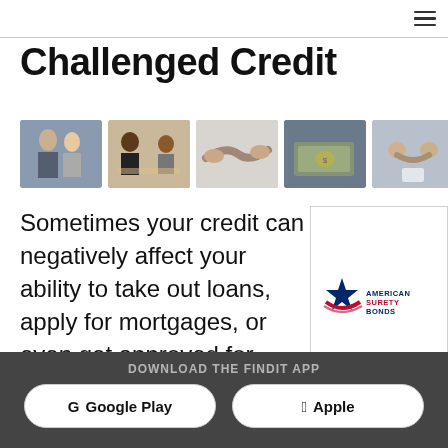≡ (navigation menu)
Challenged Credit
[Figure (photo): Row of five business/financial stock photos: professionals networking, team meeting, handshake close-up, currency/money, handshake with document]
Sometimes your credit can negatively affect your ability to take out loans, apply for mortgages, or even get approved for
[Figure (logo): AmericanSuretyBonds logo with red, white and blue star graphic and text]
DOWNLOAD THE FINDIT APP  |  Google Play  |  Apple